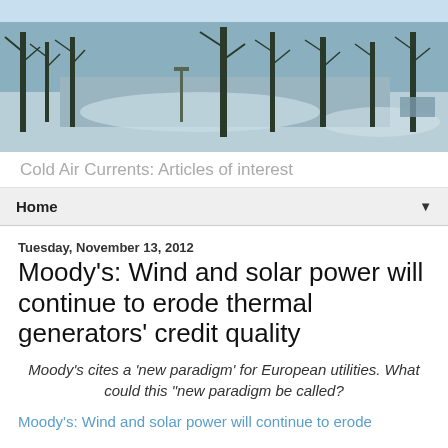[Figure (photo): Winter landscape photo showing snow-covered ground with bare trees, used as blog header image]
Cold Air Currents: Articles of interest
Home
Tuesday, November 13, 2012
Moody's: Wind and solar power will continue to erode thermal generators' credit quality
Moody's cites a 'new paradigm' for European utilities. What could this "new paradigm be called?
Moody's: Wind and solar power will continue to erode thermal generators' credit quality